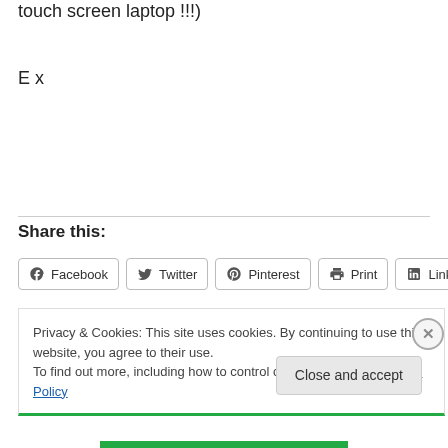touch screen laptop !!!)
E x
Share this:
[Figure (other): Social share buttons: Facebook, Twitter, Pinterest, Print, LinkedIn]
Privacy & Cookies: This site uses cookies. By continuing to use this website, you agree to their use.
To find out more, including how to control cookies, see here: Cookie Policy
Close and accept